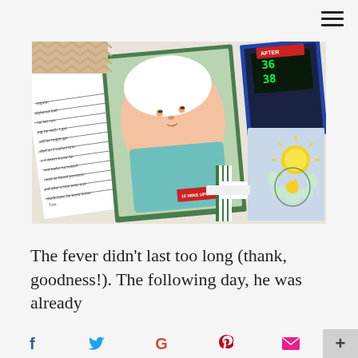[Figure (photo): A scrapbook layout photographed at an angle, showing a newborn baby in a hospital gown and white cap, surrounded by handwritten journaling cards, medical equipment images, and a decorative card with a drawn sun and flower. Green-bordered pocket pages visible.]
The fever didn’t last too long (thank, goodness!). The following day, he was already
f  [Twitter bird]  G  P  [envelope]  +